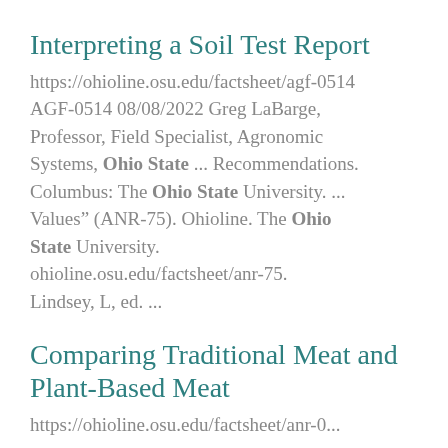Interpreting a Soil Test Report
https://ohioline.osu.edu/factsheet/agf-0514 AGF-0514 08/08/2022 Greg LaBarge, Professor, Field Specialist, Agronomic Systems, Ohio State ... Recommendations. Columbus: The Ohio State University. ... Values” (ANR-75). Ohioline. The Ohio State University. ohioline.osu.edu/factsheet/anr-75. Lindsey, L, ed. ...
Comparing Traditional Meat and Plant-Based Meat
https://ohioline.osu.edu/factsheet/anr-0...